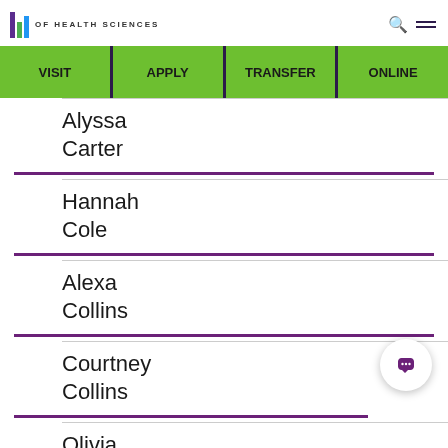OF HEALTH SCIENCES
VISIT
APPLY
TRANSFER
ONLINE
Alyssa Carter
Hannah Cole
Alexa Collins
Courtney Collins
Olivia Daumueller